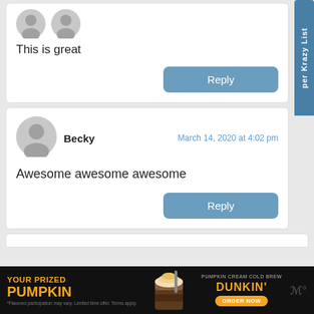[Figure (illustration): Partial comment card at top showing user avatar (grey person icon) and a Reply button]
This is great
[Figure (illustration): Grey circular user avatar with person silhouette for user Becky]
Becky
March 14, 2020 at 4:02 pm
Awesome awesome awesome
[Figure (screenshot): Dunkin ad banner at bottom: YOUR PRIZED PUMPKIN with pumpkin cream cold brew image and ORDER NOW button]